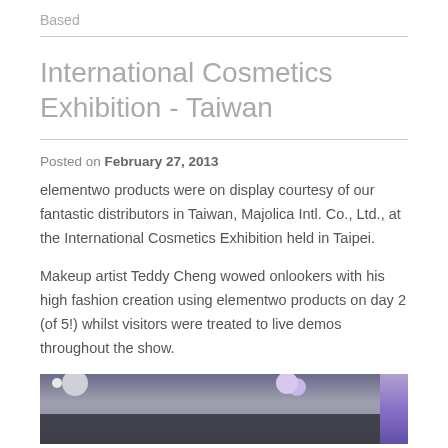Based
International Cosmetics Exhibition - Taiwan
Posted on February 27, 2013
elementwo products were on display courtesy of our fantastic distributors in Taiwan, Majolica Intl. Co., Ltd., at the International Cosmetics Exhibition held in Taipei.
Makeup artist Teddy Cheng wowed onlookers with his high fashion creation using elementwo products on day 2 (of 5!) whilst visitors were treated to live demos throughout the show.
[Figure (photo): Photo from the International Cosmetics Exhibition in Taipei showing exhibition booth with lights and a purple display structure on the right.]